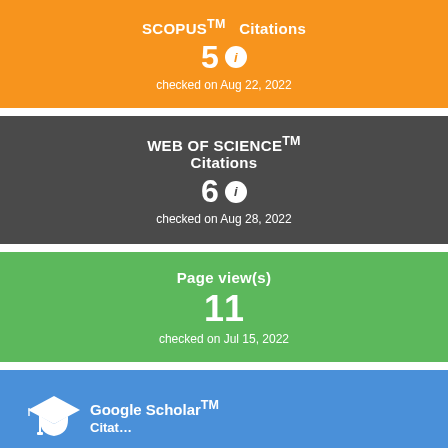[Figure (infographic): Orange card: SCOPUS TM Citations = 5, checked on Aug 22, 2022]
[Figure (infographic): Dark gray card: WEB OF SCIENCE TM Citations = 6, checked on Aug 28, 2022]
[Figure (infographic): Green card: Page view(s) = 11, checked on Jul 15, 2022]
[Figure (infographic): Blue card: Google Scholar TM Citations, partial view with graduation cap icon]